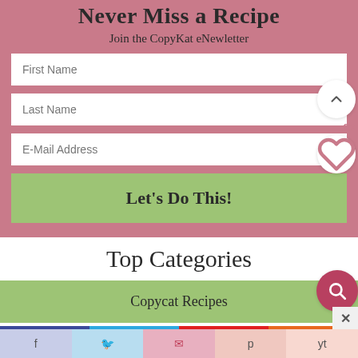Never Miss a Recipe
Join the CopyKat eNewletter
First Name
Last Name
E-Mail Address
Let's Do This!
93
Top Categories
Copycat Recipes